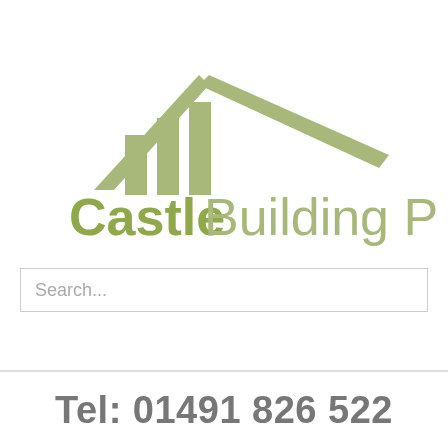[Figure (logo): Castle Building Pro (Oxfordshire) company logo featuring a stylized house/roof outline with pillars in olive green, with company name below in olive green text partially cropped on right edge]
Search...
Tel: 01491 826 522